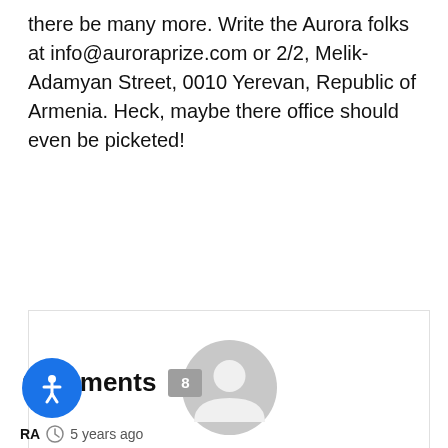there be many more. Write the Aurora folks at info@auroraprize.com or 2/2, Melik-Adamyan Street, 0010 Yerevan, Republic of Armenia. Heck, maybe there office should even be picketed!
[Figure (illustration): Author card with a generic grey user avatar icon and the name 'Asbarez Staff' in blue bold text, inside a light-bordered box.]
Comments 8
RA  5 years ago